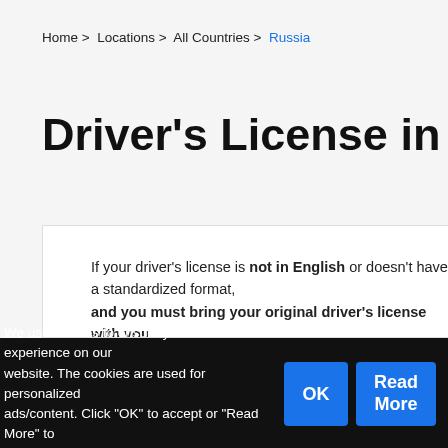Home > Locations > All Countries > Russia
Driver's License in Russia
If your driver's license is not in English or doesn't have a standardized format, an International Driving Permit (IDP) is required and you must bring your original driver's license with you.
For driver's licenses from countries not part of the international convention, you will need an IDP in addition to your original license.
We use cookies to ensure you the best experience on our website. The cookies are used for personalized ads/content. Click "OK" to accept or "Read More" to change your preferences.